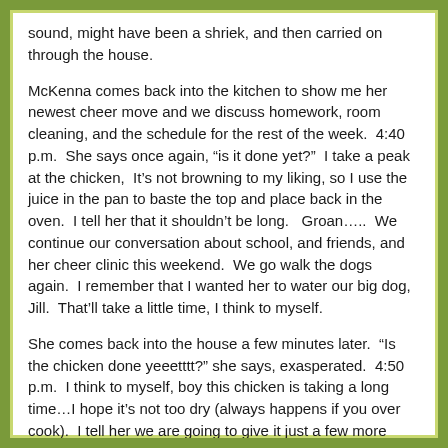sound, might have been a shriek, and then carried on through the house.
McKenna comes back into the kitchen to show me her newest cheer move and we discuss homework, room cleaning, and the schedule for the rest of the week.  4:40 p.m.  She says once again, “is it done yet?”  I take a peak at the chicken,  It’s not browning to my liking, so I use the juice in the pan to baste the top and place back in the oven.  I tell her that it shouldn’t be long.   Groan…..  We continue our conversation about school, and friends, and her cheer clinic this weekend.  We go walk the dogs again.  I remember that I wanted her to water our big dog, Jill.  That’ll take a little time, I think to myself.
She comes back into the house a few minutes later.  “Is the chicken done yeeetttt?” she says, exasperated.  4:50 p.m.  I think to myself, boy this chicken is taking a long time…I hope it’s not too dry (always happens if you over cook).  I tell her we are going to give it just a few more minutes.  At, nearly 5 p.m., I take the chicken out and all the juice is clear in the pan.  I know it is done.  I wrap it with aluminum foil for the allotted rest period, so that the